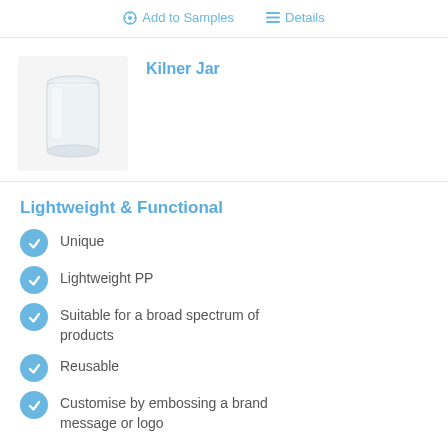Add to Samples   Details
[Figure (photo): Photo of a clear/white Kilner jar (lightweight PP polypropylene container) with slightly frosted appearance, shown against white background.]
Kilner Jar
Lightweight & Functional
Unique
Lightweight PP
Suitable for a broad spectrum of products
Reusable
Customise by embossing a brand message or logo